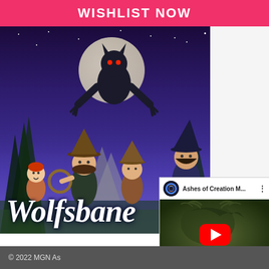WISHLIST NOW
[Figure (illustration): Game promotional image for 'Wolfsbane': fantasy/horror night scene with animated characters (children) and a dark werewolf creature under a large full moon. Children characters include one in a witch hat, one with a hoop. Purple/blue night sky with trees. White stylized 'Wolfsbane' title text at the bottom.]
[Figure (screenshot): YouTube video card showing 'Ashes of Creation M...' with channel icon (Ashes of Creation logo), three-dot menu, and thumbnail showing 'HOW MOUNTS WILL WORK' text overlay on a dark fantasy creature background with YouTube red play button.]
© 2022 MGN As